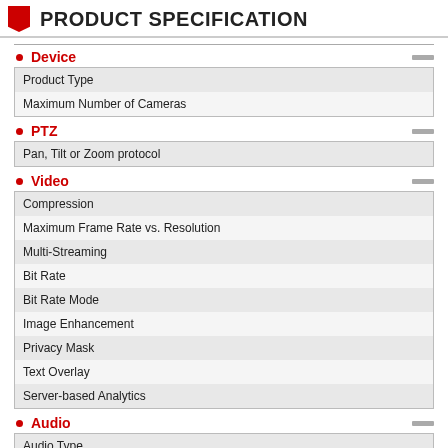PRODUCT SPECIFICATION
Device
| Product Type |
| Maximum Number of Cameras |
PTZ
| Pan, Tilt or Zoom protocol |
Video
| Compression |
| Maximum Frame Rate vs. Resolution |
| Multi-Streaming |
| Bit Rate |
| Bit Rate Mode |
| Image Enhancement |
| Privacy Mask |
| Text Overlay |
| Server-based Analytics |
Audio
| Audio Type |
| Audio Compression |